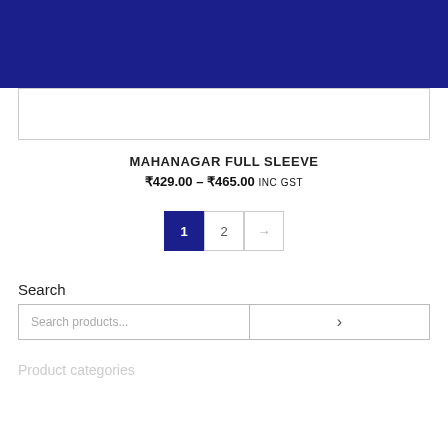[Figure (other): Dark navy blue header banner bar]
[Figure (other): White product card/image placeholder with border]
MAHANAGAR FULL SLEEVE
₹429.00 – ₹465.00 INC GST
Pagination: 1 (active), 2, →
Search
Search products... [search input] [>]
Product categories